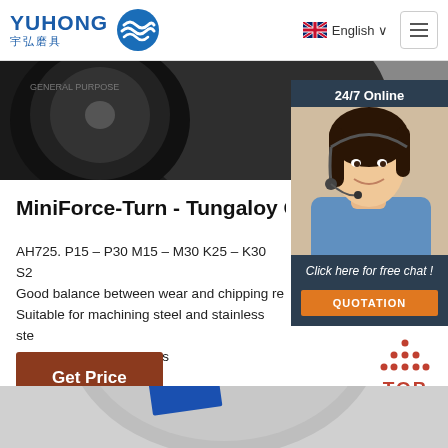[Figure (screenshot): Yuhong website header with company logo (YUHONG / 宇弘磨具 with blue wave icon), English language selector with UK flag, and hamburger menu button]
[Figure (photo): Industrial grinding/cutting wheel or abrasive product, dark circular object against dark background]
[Figure (photo): 24/7 Online chat widget showing a woman customer service representative wearing a headset, with 'Click here for free chat!' text and orange QUOTATION button]
MiniForce-Turn - Tungaloy Corpo
AH725. P15 – P30 M15 – M30 K25 – K30 S2... Good balance between wear and chipping re... Suitable for machining steel and stainless ste... general cutting conditions
[Figure (other): Get Price button - brown/rust colored rectangular button]
[Figure (other): TOP navigation button with dot pattern forming triangle/arrow and red TOP text]
[Figure (photo): Partial view of circular abrasive/grinding product at bottom of page with blue stripe marking]